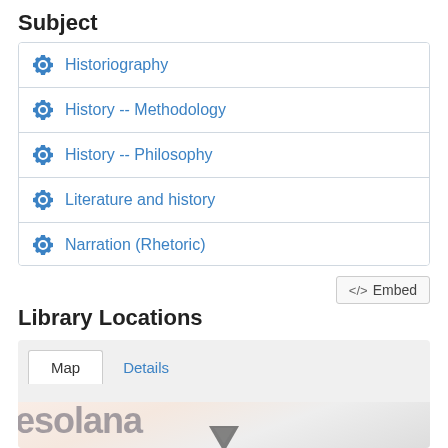Subject
Historiography
History -- Methodology
History -- Philosophy
Literature and history
Narration (Rhetoric)
</> Embed
Library Locations
[Figure (map): Map view with a location pin, showing partial map with text 'jesolana' visible at the bottom. Tabs for Map and Details are shown at the top.]